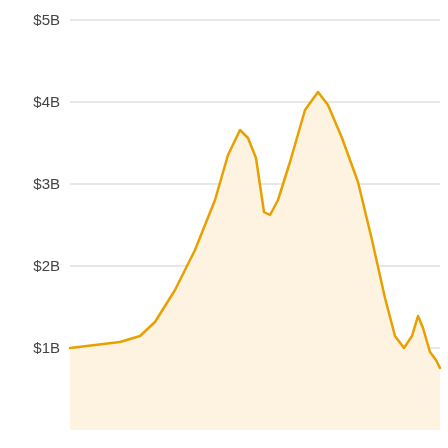[Figure (continuous-plot): Area chart showing dollar values (in billions) over time. Y-axis ranges from below $1B to above $4B with gridlines at $1B, $2B, $3B, $4B, $5B. The orange filled area shape starts near $1B, rises to a first peak around $3.5B, dips to about $2.7B, rises to a higher second peak around $4.3B, then falls sharply back to near $1B, with a small secondary bump around $1.5B before declining to approximately $0.5B.]